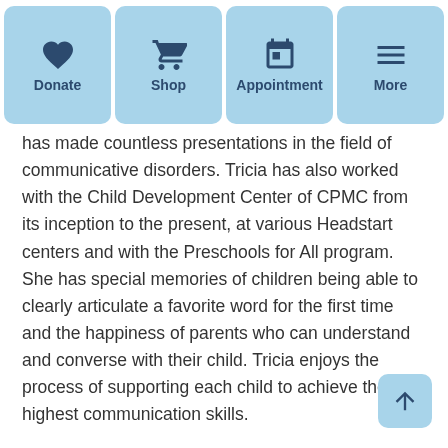Donate | Shop | Appointment | More
has made countless presentations in the field of communicative disorders. Tricia has also worked with the Child Development Center of CPMC from its inception to the present, at various Headstart centers and with the Preschools for All program. She has special memories of children being able to clearly articulate a favorite word for the first time and the happiness of parents who can understand and converse with their child. Tricia enjoys the process of supporting each child to achieve the highest communication skills.
Favorite phrase? Play with a purpose –> Listen with all of me = Engaging the whole child in the process of communication.